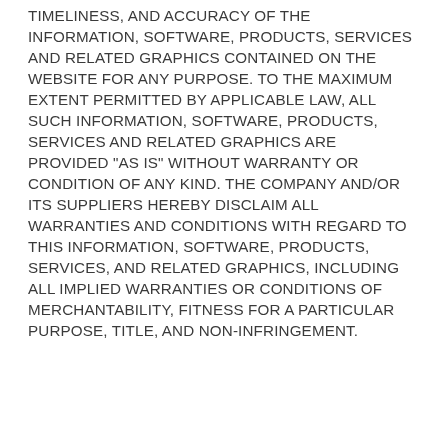TIMELINESS, AND ACCURACY OF THE INFORMATION, SOFTWARE, PRODUCTS, SERVICES AND RELATED GRAPHICS CONTAINED ON THE WEBSITE FOR ANY PURPOSE. TO THE MAXIMUM EXTENT PERMITTED BY APPLICABLE LAW, ALL SUCH INFORMATION, SOFTWARE, PRODUCTS, SERVICES AND RELATED GRAPHICS ARE PROVIDED "AS IS" WITHOUT WARRANTY OR CONDITION OF ANY KIND. THE COMPANY AND/OR ITS SUPPLIERS HEREBY DISCLAIM ALL WARRANTIES AND CONDITIONS WITH REGARD TO THIS INFORMATION, SOFTWARE, PRODUCTS, SERVICES, AND RELATED GRAPHICS, INCLUDING ALL IMPLIED WARRANTIES OR CONDITIONS OF MERCHANTABILITY, FITNESS FOR A PARTICULAR PURPOSE, TITLE, AND NON-INFRINGEMENT.